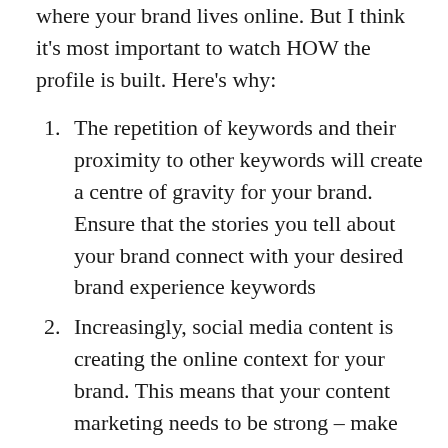where your brand lives online. But I think it's most important to watch HOW the profile is built. Here's why:
The repetition of keywords and their proximity to other keywords will create a centre of gravity for your brand. Ensure that the stories you tell about your brand connect with your desired brand experience keywords
Increasingly, social media content is creating the online context for your brand. This means that your content marketing needs to be strong – make sure that you have well-planned social content that help optimise your story across the social web
Your brand is the stories that other people